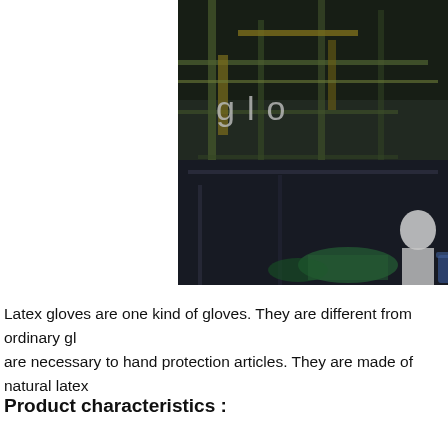[Figure (photo): A photo of an industrial factory setting, partially visible on the right side of the page. Shows multi-level scaffolding/machinery structure in dark tones with the partial text 'glo' visible in white letters, and a worker in white clothing visible at the bottom right.]
Latex gloves are one kind of gloves. They are different from ordinary glo are necessary to hand protection articles. They are made of natural latex
Product characteristics :